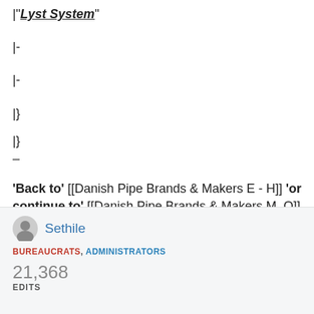|"'[[Lyst System]]"'
|-
|-
|}
|}
–
"'Back to"' [[Danish Pipe Brands & Makers E - H]] "'or continue to"' [[Danish Pipe Brands & Makers M - O]] "'|"'"'
Sethile
BUREAUCRATS, ADMINISTRATORS
21,368
EDITS